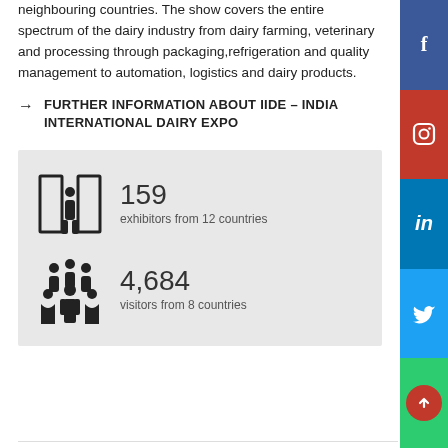neighbouring countries. The show covers the entire spectrum of the dairy industry from dairy farming, veterinary and processing through packaging,refrigeration and quality management to automation, logistics and dairy products.
→ FURTHER INFORMATION ABOUT IIDE – INDIA INTERNATIONAL DAIRY EXPO
159
exhibitors from 12 countries
4,684
visitors from 8 countries